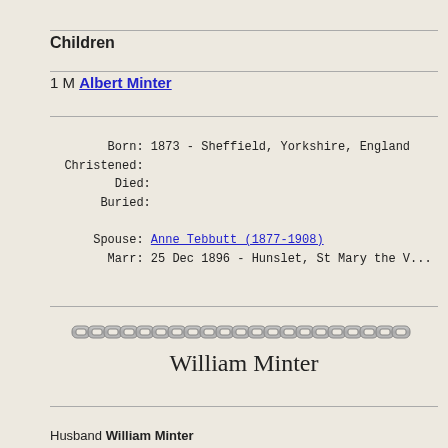Children
1 M Albert Minter
Born: 1873 - Sheffield, Yorkshire, England
Christened:
Died:
Buried:
Spouse: Anne Tebbutt (1877-1908)
Marr: 25 Dec 1896 - Hunslet, St Mary the V...
[Figure (illustration): Decorative chain link border graphic]
William Minter
Husband William Minter